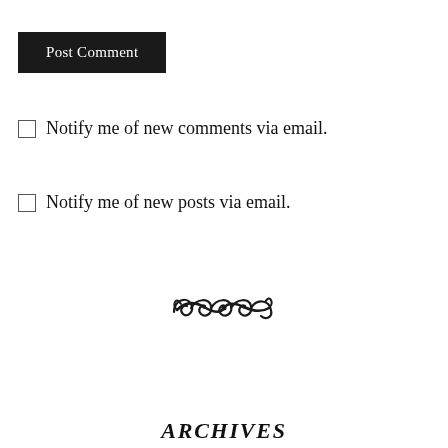Post Comment
Notify me of new comments via email.
Notify me of new posts via email.
[Figure (illustration): Decorative swirl/flourish divider]
ARCHIVES